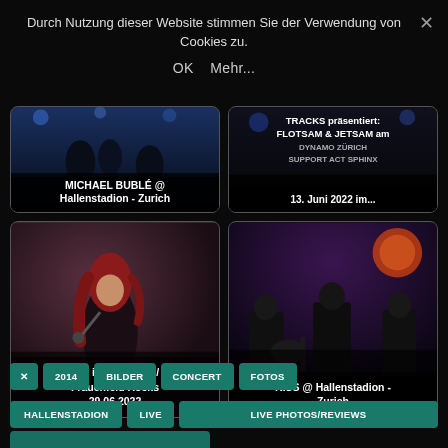Durch Nutzung dieser Website stimmen Sie der Verwendung von Cookies zu.
OK   Mehr...
[Figure (photo): Concert photo: MICHAEL BUBLÉ @ Hallenstadion - Zurich]
[Figure (photo): Concert poster: TRACKS präsentiert: FLOTSAM & JETSAM am 13. Juni 2022 im...]
[Figure (photo): Concert photo: Out in the Green / Frauenfeld Rocks 29.06.2022 - female singer with red hair on stage]
[Figure (photo): Concert photo: KISS @ Hallenstadion - Zurich - band members on stage]
2014
BILDER
CONCERT
FOTOS
HALLENSTADION
LIVE
LIVE PHOTOS/REVIEWS